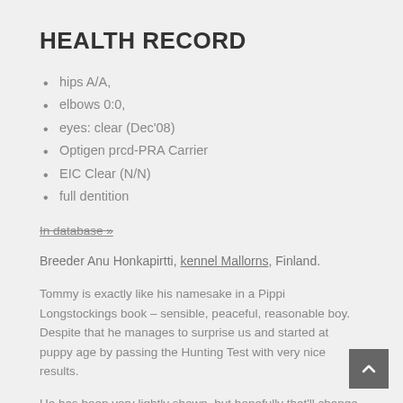HEALTH RECORD
hips A/A,
elbows 0:0,
eyes: clear (Dec'08)
Optigen prcd-PRA Carrier
EIC Clear (N/N)
full dentition
In database »
Breeder Anu Honkapirtti, kennel Mallorns, Finland.
Tommy is exactly like his namesake in a Pippi Longstockings book – sensible, peaceful, reasonable boy. Despite that he manages to surprise us and started at puppy age by passing the Hunting Test with very nice results.
He has been very lightly shown, but hopefully that'll change. So far the results have been promising.
We thank Anu for the possibility to have him!